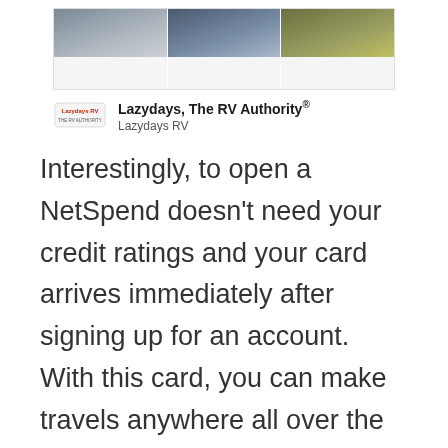[Figure (screenshot): Advertisement banner showing three RV images with Lazydays RV branding logo and title text 'Lazydays, The RV Authority®' and subtitle 'Lazydays RV']
Interestingly, to open a NetSpend doesn't need your credit ratings and your card arrives immediately after signing up for an account. With this card, you can make travels anywhere all over the globe, make withdrawals through ATM, pay bills, and buy goods through the mobile money